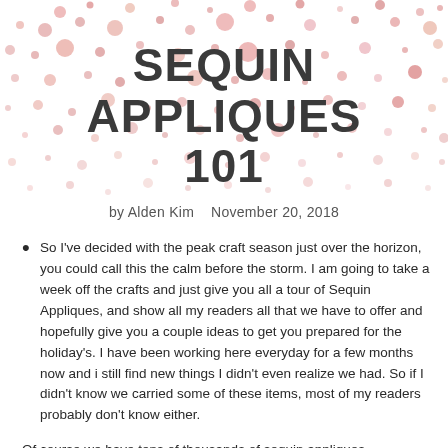[Figure (illustration): Scattered pink/rose gold sequin confetti dots of various sizes on a white background, concentrated toward the top of the page.]
SEQUIN APPLIQUES 101
by Alden Kim   November 20, 2018
So I've decided with the peak craft season just over the horizon, you could call this the calm before the storm. I am going to take a week off the crafts and just give you all a tour of Sequin Appliques, and show all my readers all that we have to offer and hopefully give you a couple ideas to get you prepared for the holiday's. I have been working here everyday for a few months now and i still find new things I didn't even realize we had. So if I didn't know we carried some of these items, most of my readers probably don't know either.
Of course we have tens of thousands of sequin appliques